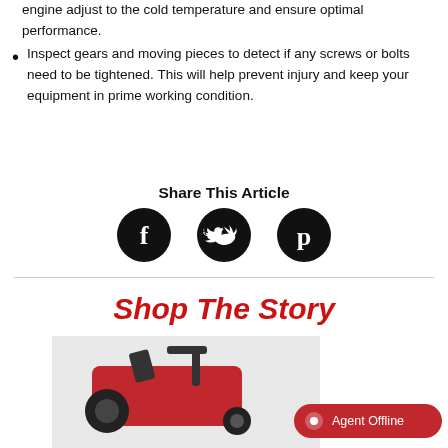engine adjust to the cold temperature and ensure optimal performance.
Inspect gears and moving pieces to detect if any screws or bolts need to be tightened. This will help prevent injury and keep your equipment in prime working condition.
Share This Article
[Figure (infographic): Three social media share icons: Facebook (f), Twitter (bird), and Pinterest (P), each as white icons on black circles.]
Shop The Story
[Figure (photo): Partial photo of a red snow blower machine shown from above, with handlebars and auger visible.]
Agent Offline